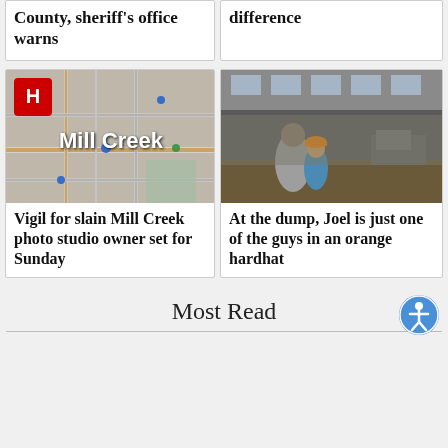County, sheriff's office warns
difference
[Figure (map): Map showing Mill Creek area with H logo badge overlay and 'Mill Creek' text label]
[Figure (photo): Photo of two people, one with orange hardhat, looking over a ledge at a dump/waste facility]
Vigil for slain Mill Creek photo studio owner set for Sunday
At the dump, Joel is just one of the guys in an orange hardhat
Most Read